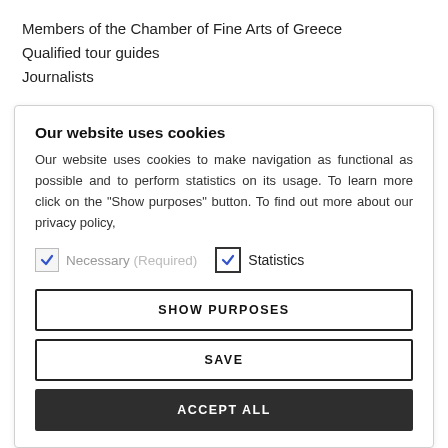Members of the Chamber of Fine Arts of Greece
Qualified tour guides
Journalists
Our website uses cookies
Our website uses cookies to make navigation as functional as possible and to perform statistics on its usage. To learn more click on the "Show purposes" button. To find out more about our privacy policy,
Necessary (Required)   Statistics
SHOW PURPOSES
SAVE
ACCEPT ALL